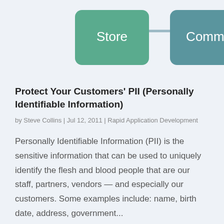[Figure (flowchart): Partial flowchart showing two rounded-rectangle nodes: 'Store' (green) and 'Comm.' (teal), connected by a horizontal line.]
Protect Your Customers' PII (Personally Identifiable Information)
by Steve Collins | Jul 12, 2011 | Rapid Application Development
Personally Identifiable Information (PII) is the sensitive information that can be used to uniquely identify the flesh and blood people that are our staff, partners, vendors — and especially our customers. Some examples include: name, birth date, address, government...